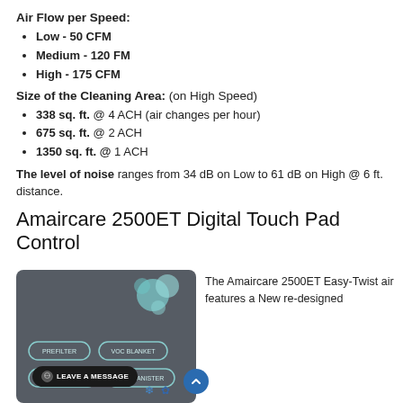Air Flow per Speed:
Low - 50 CFM
Medium - 120 FM
High - 175 CFM
Size of the Cleaning Area: (on High Speed)
338 sq. ft. @ 4 ACH (air changes per hour)
675 sq. ft. @ 2 ACH
1350 sq. ft. @ 1 ACH
The level of noise ranges from 34 dB on Low to 61 dB on High @ 6 ft. distance.
Amaircare 2500ET Digital Touch Pad Control
[Figure (photo): Amaircare 2500ET air purifier control panel with filter labels (Prefilter, VOC Blanket, HEPA Filter, VOC Canister) and decorative orbs. A 'Leave a Message' chat button overlay is visible.]
The Amaircare 2500ET Easy-Twist air featu a New re-designed